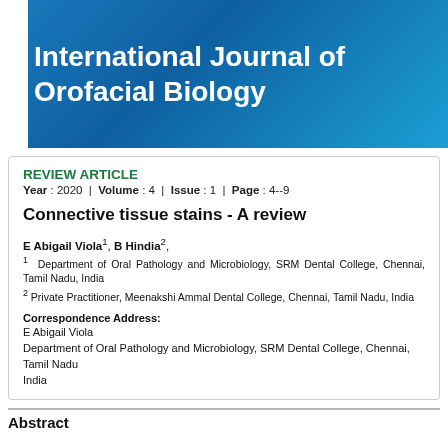[Figure (logo): International Journal of Orofacial Biology journal header banner with blue gradient background and white bold text]
REVIEW ARTICLE
Year : 2020 | Volume : 4 | Issue : 1 | Page : 4--9
Connective tissue stains - A review
E Abigail Viola1, B Hindia2,
1 Department of Oral Pathology and Microbiology, SRM Dental College, Chennai, Tamil Nadu, India
2 Private Practitioner, Meenakshi Ammal Dental College, Chennai, Tamil Nadu, India
Correspondence Address:
E Abigail Viola
Department of Oral Pathology and Microbiology, SRM Dental College, Chennai, Tamil Nadu
India
Abstract